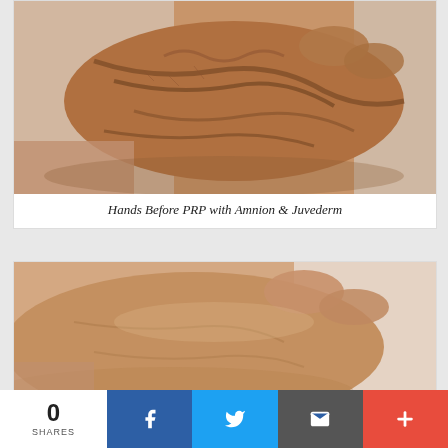[Figure (photo): Close-up photograph of an aged hand with prominent veins before PRP with Amnion and Juvederm treatment, resting on a white surface.]
Hands Before PRP with Amnion & Juvederm
[Figure (photo): Close-up photograph of a hand after PRP with Amnion and Juvederm treatment, showing smoother skin with less visible veins.]